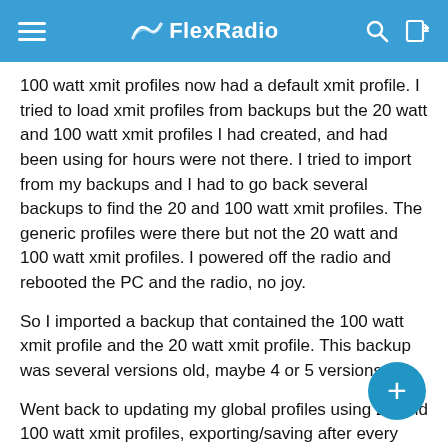FlexRadio
100 watt xmit profiles now had a default xmit profile. I tried to load xmit profiles from backups but the 20 watt and 100 watt xmit profiles I had created, and had been using for hours were not there. I tried to import from my backups and I had to go back several backups to find the 20 and 100 watt xmit profiles. The generic profiles were there but not the 20 watt and 100 watt xmit profiles. I powered off the radio and rebooted the PC and the radio, no joy.
So I imported a backup that contained the 100 watt xmit profile and the 20 watt xmit profile. This backup was several versions old, maybe 4 or 5 versions old.
Went back to updating my global profiles using 20 and 100 watt xmit profiles, exporting/saving after every couple band global profile changes.